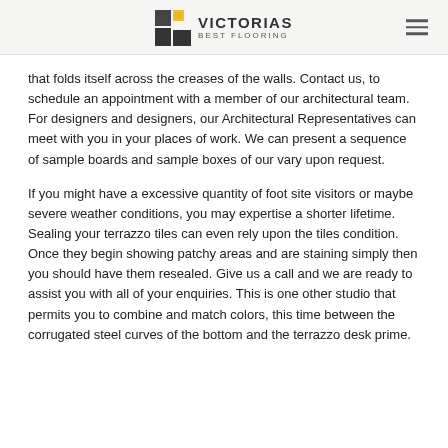VICTORIAS BEST FLOORING
that folds itself across the creases of the walls. Contact us, to schedule an appointment with a member of our architectural team. For designers and designers, our Architectural Representatives can meet with you in your places of work. We can present a sequence of sample boards and sample boxes of our vary upon request.
If you might have a excessive quantity of foot site visitors or maybe severe weather conditions, you may expertise a shorter lifetime. Sealing your terrazzo tiles can even rely upon the tiles condition. Once they begin showing patchy areas and are staining simply then you should have them resealed. Give us a call and we are ready to assist you with all of your enquiries. This is one other studio that permits you to combine and match colors, this time between the corrugated steel curves of the bottom and the terrazzo desk prime.